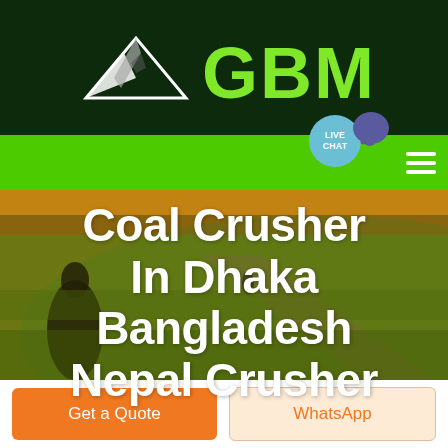[Figure (logo): GBM company logo — mountain/triangle icon in white and grey on dark green background with 'GBM' in bold lime green text]
[Figure (photo): Aerial or wide-angle landscape photo of green fields with warm orange/golden light, a dark silhouetted figure on the left, and a person in the background center. Serves as hero image background.]
Coal Crusher In Dhaka Bangladesh Nepal Crusher
Get a Quote
WhatsApp